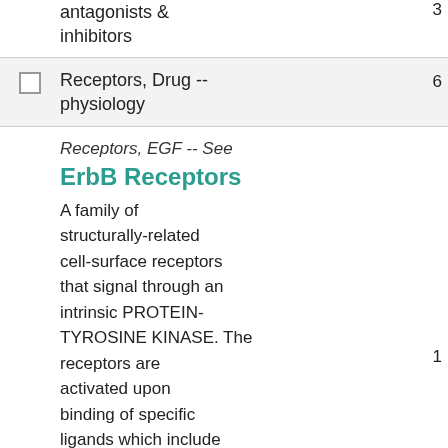antagonists & inhibitors
Receptors, Drug -- physiology
Receptors, EGF -- See ErbB Receptors. A family of structurally-related cell-surface receptors that signal through an intrinsic PROTEIN-TYROSINE KINASE. The receptors are activated upon binding of specific ligands which include EPIDERMAL GROWTH...